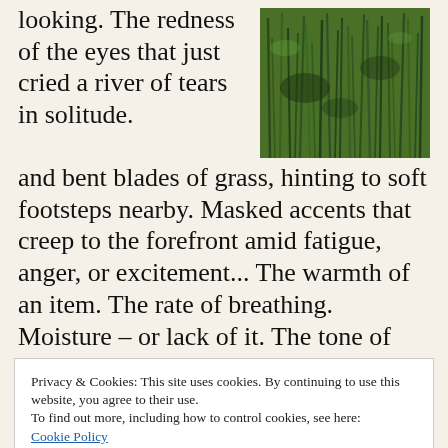looking. The redness of the eyes that just cried a river of tears in solitude. Broken and bent blades of grass, hinting to soft footsteps nearby. Masked accents that creep to the forefront amid fatigue, anger, or excitement... The warmth of an item. The rate of breathing. Moisture – or lack of it. The tone of one's voice. The questions asked, and responses given... All tell-tale signs, if we pay attention and apply basic logic.
[Figure (photo): Close-up photograph of green grass blades, densely packed, viewed from above.]
Privacy & Cookies: This site uses cookies. By continuing to use this website, you agree to their use.
To find out more, including how to control cookies, see here:
Cookie Policy
Close and accept
when it comes to observation. As a parent, it's